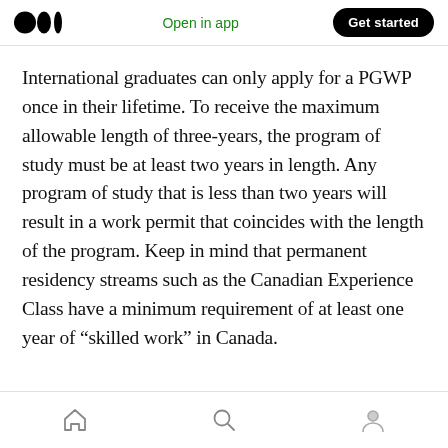Open in app  Get started
International graduates can only apply for a PGWP once in their lifetime. To receive the maximum allowable length of three-years, the program of study must be at least two years in length. Any program of study that is less than two years will result in a work permit that coincides with the length of the program. Keep in mind that permanent residency streams such as the Canadian Experience Class have a minimum requirement of at least one year of “skilled work” in Canada.